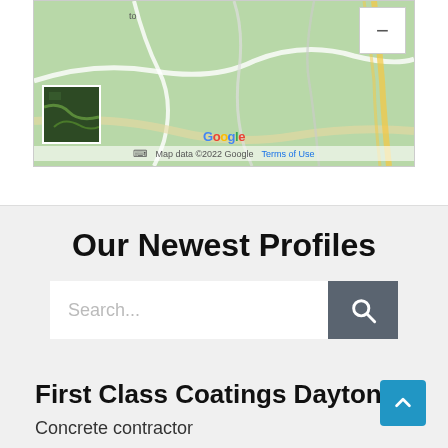[Figure (screenshot): Google Maps screenshot showing a green terrain map with satellite thumbnail, zoom out button, Google logo, and map data attribution. Map data ©2022 Google. Terms of Use.]
Our Newest Profiles
Search...
First Class Coatings Dayton
Concrete contractor
Dayton, Ohio
Concrete coatings Dayton, Ohio